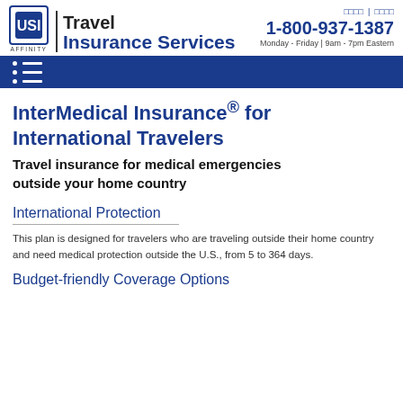USI Affinity | Travel Insurance Services
□□□□ | □□□□
1-800-937-1387
Monday - Friday | 9am - 7pm Eastern
InterMedical Insurance® for International Travelers
Travel insurance for medical emergencies outside your home country
International Protection
This plan is designed for travelers who are traveling outside their home country and need medical protection outside the U.S., from 5 to 364 days.
Budget-friendly Coverage Options